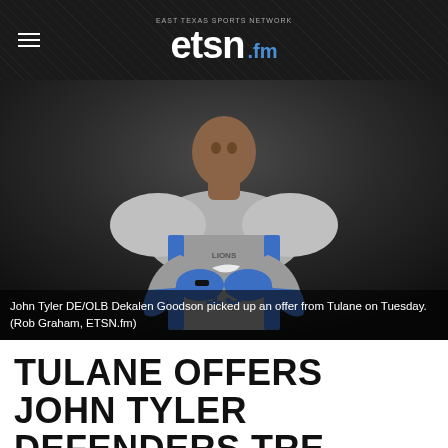etsn.fm — EAST TEXAS SPORTS NETWORK
[Figure (photo): Football player Dekalen Goodson wearing a gray and blue Lions uniform with number 15, posed against a dark background.]
John Tyler DE/OLB Dekalen Goodson picked up an offer from Tulane on Tuesday. (Rob Graham, ETSN.fm)
TULANE OFFERS JOHN TYLER DEFENDERS TRE ALLISON +